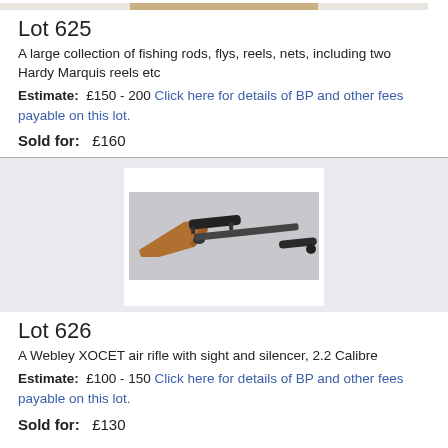[Figure (photo): Partial image of fishing equipment/reels at top of page]
Lot 625
A large collection of fishing rods, flys, reels, nets, including two Hardy Marquis reels etc
Estimate:  £150 - 200  Click here for details of BP and other fees payable on this lot.
Sold for:   £160
[Figure (photo): A Webley XOCET air rifle with sight and silencer lying on a surface, with scope and silencer visible]
Lot 626
A Webley XOCET air rifle with sight and silencer, 2.2 Calibre
Estimate:  £100 - 150  Click here for details of BP and other fees payable on this lot.
Sold for:   £130